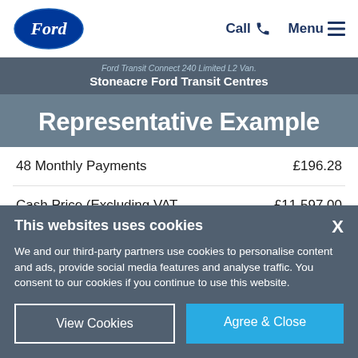Ford | Call | Menu
Ford Transit Connect 240 Limited L2 Van. | Stoneacre Ford Transit Centres
Representative Example
| Item | Price |
| --- | --- |
| 48 Monthly Payments | £196.28 |
| Cash Price (Excluding VAT | £11,597.00 |
This websites uses cookies
We and our third-party partners use cookies to personalise content and ads, provide social media features and analyse traffic. You consent to our cookies if you continue to use this website.
View Cookies | Agree & Close